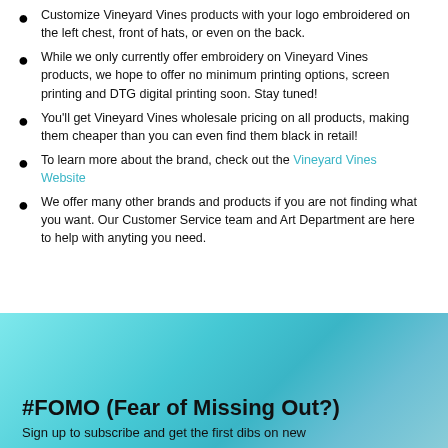Customize Vineyard Vines products with your logo embroidered on the left chest, front of hats, or even on the back.
While we only currently offer embroidery on Vineyard Vines products, we hope to offer no minimum printing options, screen printing and DTG digital printing soon. Stay tuned!
You'll get Vineyard Vines wholesale pricing on all products, making them cheaper than you can even find them black in retail!
To learn more about the brand, check out the Vineyard Vines Website
We offer many other brands and products if you are not finding what you want. Our Customer Service team and Art Department are here to help with anyting you need.
#FOMO (Fear of Missing Out?)
Sign up to subscribe and get the first dibs on new